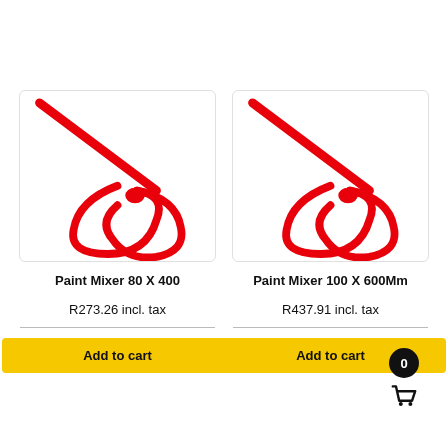[Figure (photo): Red paint mixer attachment (80 X 400mm) with spiral mixing blades on white background]
Paint Mixer 80 X 400
R273.26 incl. tax
Add to cart
[Figure (photo): Red paint mixer attachment (100 X 600mm) with spiral mixing blades on white background]
Paint Mixer 100 X 600Mm
R437.91 incl. tax
Add to cart